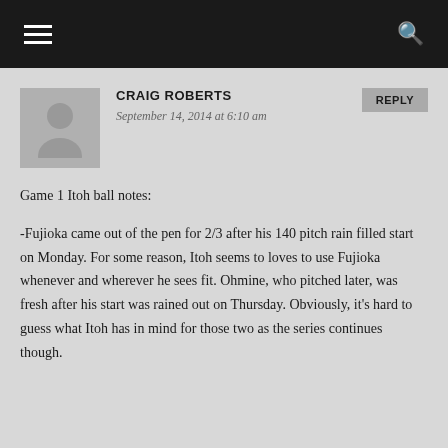CRAIG ROBERTS
September 14, 2014 at 6:10 am
Game 1 Itoh ball notes:
-Fujioka came out of the pen for 2/3 after his 140 pitch rain filled start on Monday. For some reason, Itoh seems to loves to use Fujioka whenever and wherever he sees fit. Ohmine, who pitched later, was fresh after his start was rained out on Thursday. Obviously, it’s hard to guess what Itoh has in mind for those two as the series continues though.